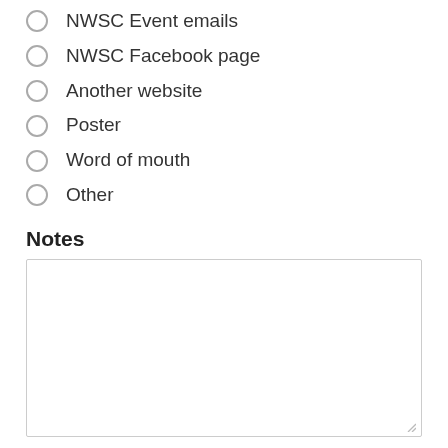NWSC Event emails
NWSC Facebook page
Another website
Poster
Word of mouth
Other
Notes
Submit